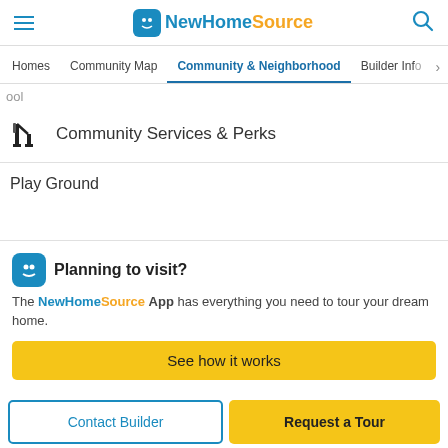NewHomeSource
Homes | Community Map | Community & Neighborhood | Builder Info
ool
Community Services & Perks
Play Ground
Planning to visit? The NewHomeSource App has everything you need to tour your dream home.
See how it works
Contact Builder
Request a Tour